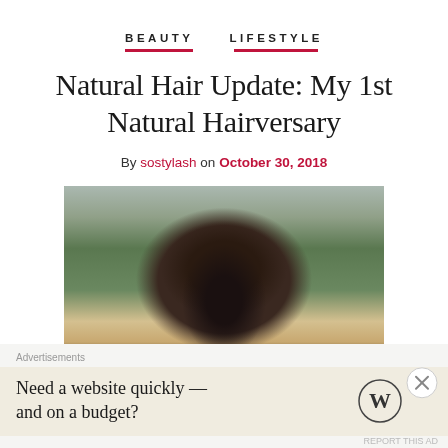BEAUTY   LIFESTYLE
Natural Hair Update: My 1st Natural Hairversary
By sostylash on October 30, 2018
[Figure (photo): Woman with natural curly hair outdoors at a park or fair, looking upward, wearing hoop earrings]
Advertisements
Need a website quickly — and on a budget?